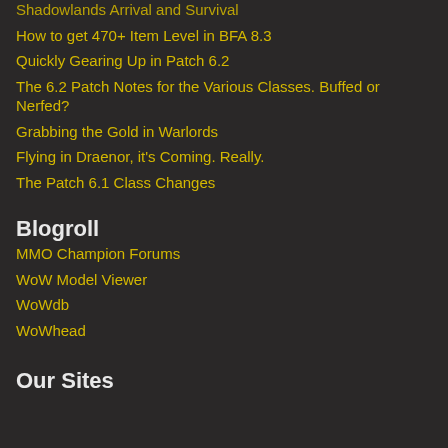Shadowlands Arrival and Survival
How to get 470+ Item Level in BFA 8.3
Quickly Gearing Up in Patch 6.2
The 6.2 Patch Notes for the Various Classes. Buffed or Nerfed?
Grabbing the Gold in Warlords
Flying in Draenor, it's Coming. Really.
The Patch 6.1 Class Changes
Blogroll
MMO Champion Forums
WoW Model Viewer
WoWdb
WoWhead
Our Sites